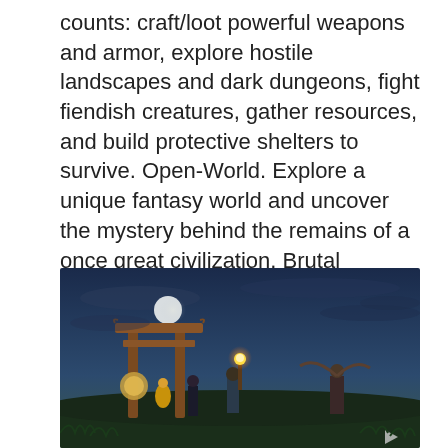counts: craft/loot powerful weapons and armor, explore hostile landscapes and dark dungeons, fight fiendish creatures, gather resources, and build protective shelters to survive. Open-World. Explore a unique fantasy world and uncover the mystery behind the remains of a once great civilization. Brutal Combat. Defend yourself against an intimidating array of hostile creatures from towering giants to rabid wolves. Manage your equipment and plan your attacks wisely, or the next fight may be your last. SEXY GAMES
[Figure (illustration): Fantasy game screenshot showing warriors/heroes at night with torchlight, a torii gate on the left, a full moon in the sky, and armored figures with weapons including a hammer/mace with glowing light, dark atmospheric scene]